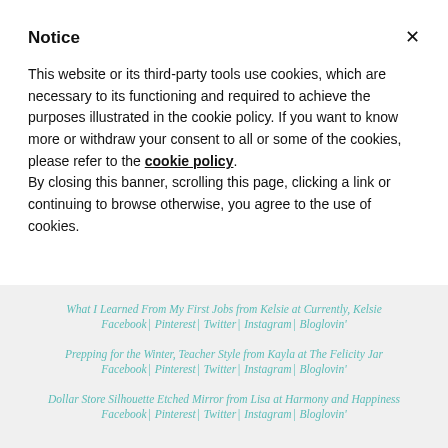Notice
This website or its third-party tools use cookies, which are necessary to its functioning and required to achieve the purposes illustrated in the cookie policy. If you want to know more or withdraw your consent to all or some of the cookies, please refer to the cookie policy.
By closing this banner, scrolling this page, clicking a link or continuing to browse otherwise, you agree to the use of cookies.
What I Learned From My First Jobs from Kelsie at Currently, Kelsie
Facebook | Pinterest | Twitter | Instagram | Bloglovin'
Prepping for the Winter, Teacher Style from Kayla at The Felicity Jar
Facebook | Pinterest | Twitter | Instagram | Bloglovin'
Dollar Store Silhouette Etched Mirror from Lisa at Harmony and Happiness
Facebook | Pinterest | Twitter | Instagram | Bloglovin'